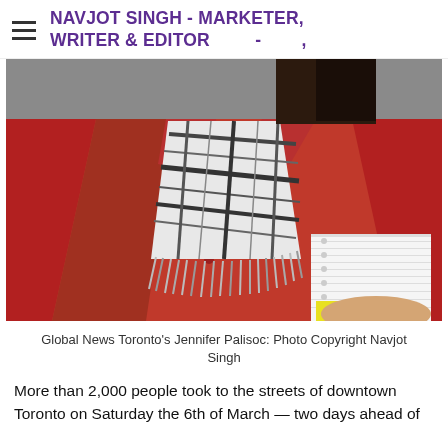NAVJOT SINGH - MARKETER, WRITER & EDITOR  -  ,
[Figure (photo): Person wearing a red coat and black-and-white plaid scarf, holding papers/notebooks, photographed outdoors from the torso up. Background shows a sidewalk/street scene.]
Global News Toronto's Jennifer Palisoc: Photo Copyright Navjot Singh
More than 2,000 people took to the streets of downtown Toronto on Saturday the 6th of March — two days ahead of